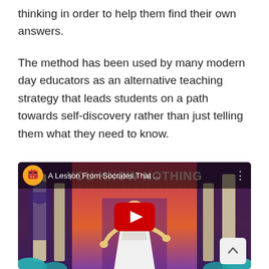thinking in order to help them find their own answers.
The method has been used by many modern day educators as an alternative teaching strategy that leads students on a path towards self-discovery rather than just telling them what they need to know.
[Figure (screenshot): YouTube video thumbnail for 'A Lesson From Socrates That...' showing an animated illustration of Socrates in white robes between columns, with a large red YouTube play button in the center. The background text reads 'YOU KNOW NOTHING' in large letters. The channel icon is an orange circle with a pixel-art skull face. A scroll-up arrow button is visible in the bottom right corner.]